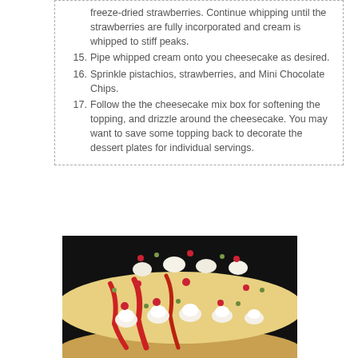freeze-dried strawberries. Continue whipping until the strawberries are fully incorporated and cream is whipped to stiff peaks.
15. Pipe whipped cream onto you cheesecake as desired.
16. Sprinkle pistachios, strawberries, and Mini Chocolate Chips.
17. Follow the the cheesecake mix box for softening the topping, and drizzle around the cheesecake. You may want to save some topping back to decorate the dessert plates for individual servings.
[Figure (photo): Close-up photo of a decorated cheesecake with whipped cream rosettes, freeze-dried strawberries, pistachios, and strawberry drizzle sauce on top, on a dark background.]